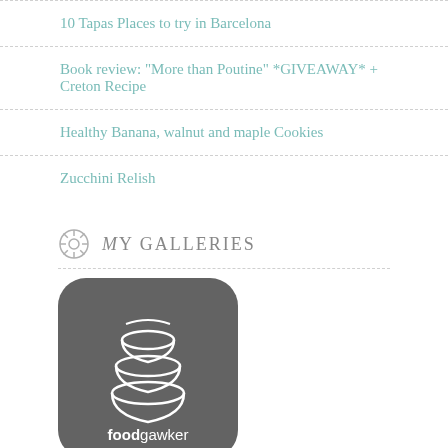10 Tapas Places to try in Barcelona
Book review: "More than Poutine" *GIVEAWAY* + Creton Recipe
Healthy Banana, walnut and maple Cookies
Zucchini Relish
My Galleries
[Figure (logo): foodgawker my gallery logo — dark grey rounded square with stacked white bowls icon and text 'foodgawker my gallery']